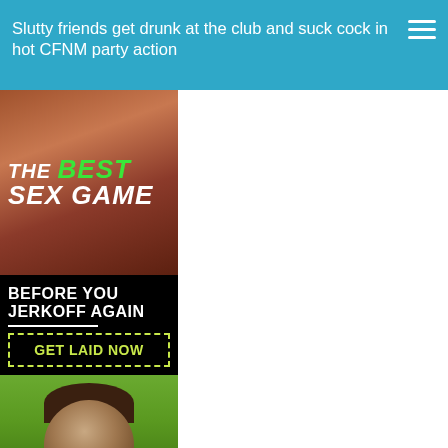Slutty friends get drunk at the club and suck cock in hot CFNM party action
[Figure (advertisement): Adult game advertisement banner reading 'THE BEST SEX GAME - BEFORE YOU JERKOFF AGAIN - GET LAID NOW' with a woman's face at the bottom on a green background]